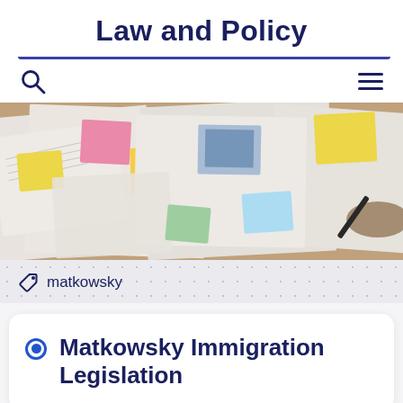Law and Policy
[Figure (photo): Overhead view of open books and documents covered with colorful sticky notes (pink, yellow, green) spread across a wooden table, suggesting research or legal study materials.]
matkowsky
Matkowsky Immigration Legislation